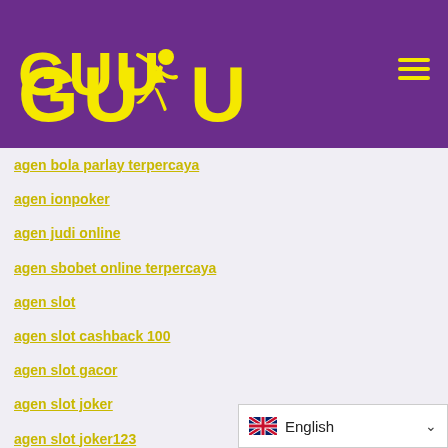[Figure (logo): GUDU logo in yellow on purple background with running figure silhouette]
agen bola parlay terpercaya
agen ionpoker
agen judi online
agen sbobet online terpercaya
agen slot
agen slot cashback 100
agen slot gacor
agen slot joker
agen slot joker123
agen slot kakaktogel
Agen Slot Online
Agen138 : Daftar Situs Judi Slot Casino Online
[Figure (other): Language selector widget showing UK flag and English text with dropdown chevron]